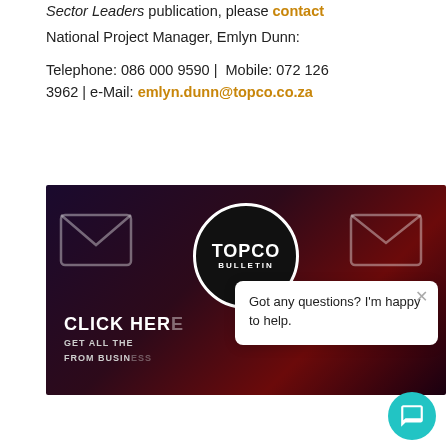Sector Leaders publication, please contact National Project Manager, Emlyn Dunn:

Telephone: 086 000 9590 | Mobile: 072 126 3962 | e-Mail: emlyn.dunn@topco.co.za
[Figure (screenshot): Topco Bulletin banner image with dark purple/red background featuring envelope icons and a circular Topco Bulletin logo. Text reads CLICK HERE, GET ALL THE [NEWS] FROM BUSIN[ESS]. A chat popup overlay is visible saying 'Got any questions? I'm happy to help.' with a teal chat button in the bottom right corner.]